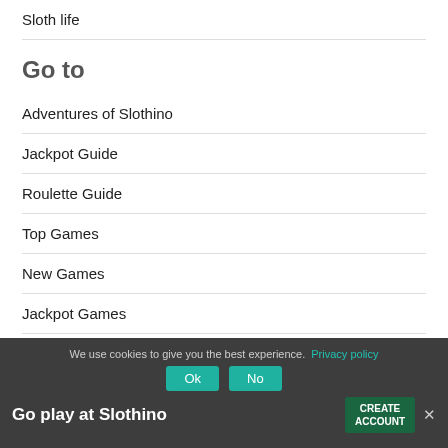Sloth life
Go to
Adventures of Slothino
Jackpot Guide
Roulette Guide
Top Games
New Games
Jackpot Games
We use cookies to give you the best experience. Privacy policy
Go play at Slothino
CREATE ACCOUNT